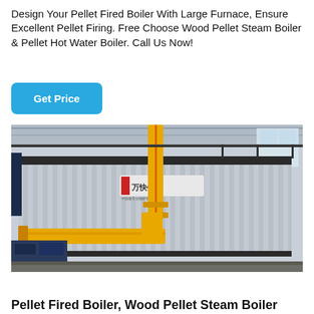Design Your Pellet Fired Boiler With Large Furnace, Ensure Excellent Pellet Firing. Free Choose Wood Pellet Steam Boiler & Pellet Hot Water Boiler. Call Us Now!
[Figure (other): Button labeled 'Get Price' with cyan/blue rounded rectangle background]
[Figure (photo): Industrial pellet fired boiler unit in a factory setting. Large corrugated metal body with yellow gas pipes/fittings in foreground and Chinese branding on the unit. Indoor industrial facility with structural steel overhead.]
Pellet Fired Boiler, Wood Pellet Steam Boiler